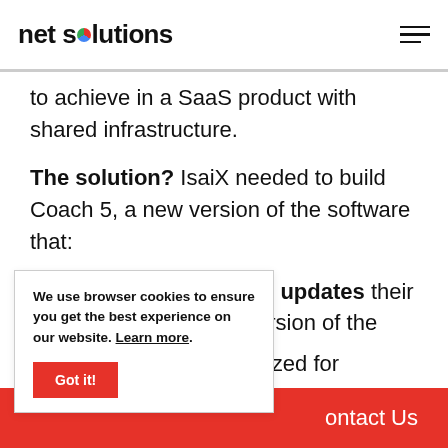net solutions
to achieve in a SaaS product with shared infrastructure.
The solution? IsaiX needed to build Coach 5, a new version of the software that:
Featured many of the updates their enterprise ... unified version of the
e, intuitive mobile ... imized for smartphones
[Figure (other): Cookie consent popup with text: We use browser cookies to ensure you get the best experience on our website. Learn more. And a Got It! button.]
ontact Us